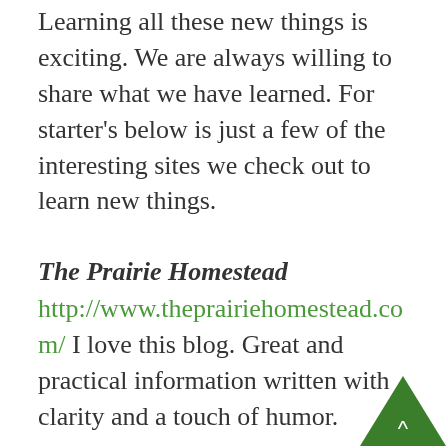Learning all these new things is exciting. We are always willing to share what we have learned. For starter's below is just a few of the interesting sites we check out to learn new things.
The Prairie Homestead
http://www.theprairiehomestead.com/ I love this blog. Great and practical information written with clarity and a touch of humor.
Mother Earth News
http://www.motherearthnews.com/ A collection of blogs and ar...